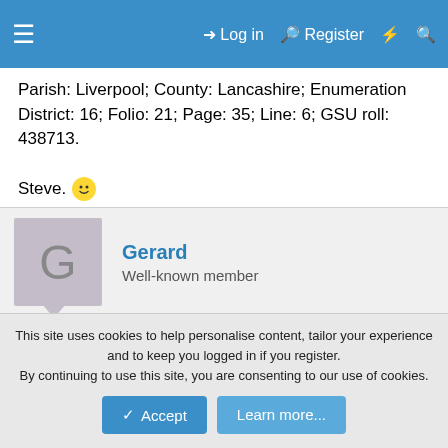≡   Log in   Register   ⚡   🔍
Parish: Liverpool; County: Lancashire; Enumeration District: 16; Folio: 21; Page: 35; Line: 6; GSU roll: 438713.

Steve. 🙂
Gerard
Well-known member
20 March 2010   #5
ED 16:

All that part of Scotland ward comprising the western side of Scotland Rd from Wellington St north to Burlington St
This site uses cookies to help personalise content, tailor your experience and to keep you logged in if you register.
By continuing to use this site, you are consenting to our use of cookies.
[Accept]  [Learn more...]